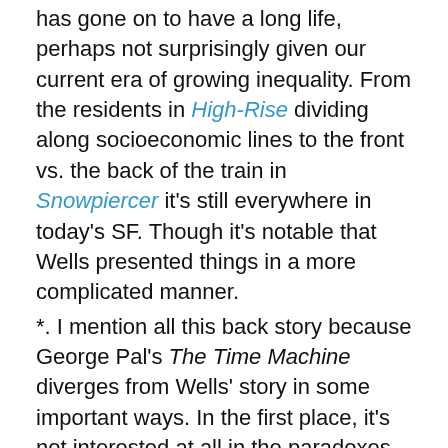has gone on to have a long life, perhaps not surprisingly given our current era of growing inequality. From the residents in High-Rise dividing along socioeconomic lines to the front vs. the back of the train in Snowpiercer it's still everywhere in today's SF. Though it's notable that Wells presented things in a more complicated manner.
*. I mention all this back story because George Pal's The Time Machine diverges from Wells' story in some important ways. In the first place, it's not interested at all in the paradoxes thrown up by any time travel narrative. There's not a lot of that in Wells either, but at least there's a bit. But here there's just the machine itself — a whimsical piece of Victoriana that's more sled than bicycle — which toboggans back and forth without causing any timequakes or temporal disruptions.
*. Then there is the matter of politics. It's not that this movie isn't political as that it has different politics than the